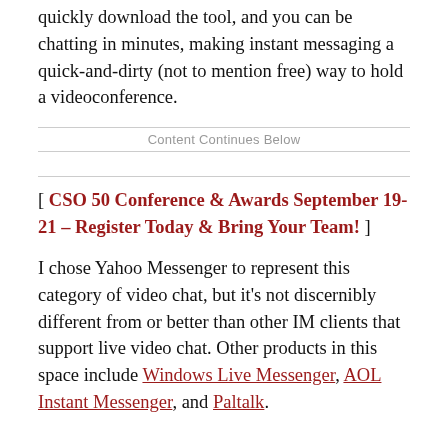quickly download the tool, and you can be chatting in minutes, making instant messaging a quick-and-dirty (not to mention free) way to hold a videoconference.
Content Continues Below
[ CSO 50 Conference & Awards September 19-21 – Register Today & Bring Your Team! ]
I chose Yahoo Messenger to represent this category of video chat, but it's not discernibly different from or better than other IM clients that support live video chat. Other products in this space include Windows Live Messenger, AOL Instant Messenger, and Paltalk.